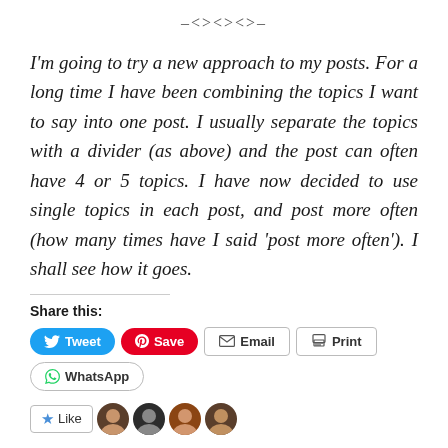[Figure (illustration): Decorative diamond/ornament divider: –<><><>–]
I'm going to try a new approach to my posts. For a long time I have been combining the topics I want to say into one post. I usually separate the topics with a divider (as above) and the post can often have 4 or 5 topics. I have now decided to use single topics in each post, and post more often (how many times have I said 'post more often'). I shall see how it goes.
Share this:
[Figure (screenshot): Social share buttons: Tweet (blue), Save (red/Pinterest), Email (outline), Print (outline), WhatsApp (outline)]
[Figure (screenshot): Like button with star icon and user avatar thumbnails]